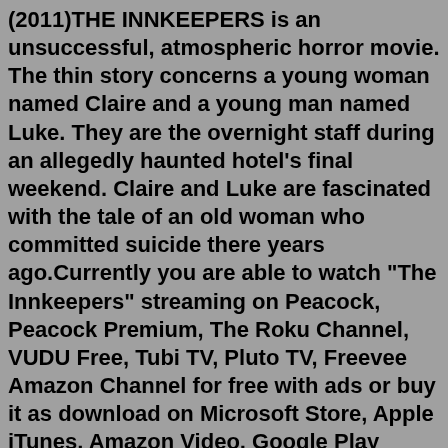(2011)THE INNKEEPERS is an unsuccessful, atmospheric horror movie. The thin story concerns a young woman named Claire and a young man named Luke. They are the overnight staff during an allegedly haunted hotel's final weekend. Claire and Luke are fascinated with the tale of an old woman who committed suicide there years ago.Currently you are able to watch "The Innkeepers" streaming on Peacock, Peacock Premium, The Roku Channel, VUDU Free, Tubi TV, Pluto TV, Freevee Amazon Channel for free with ads or buy it as download on Microsoft Store, Apple iTunes, Amazon Video, Google Play Movies, YouTube, Vudu, FlixFling. It is also possible to rent "The Innkeepers" on ...Oct 09, 2012 · It's been a while since we've posted a Netflix horror list because the so few new movies have been added. Thankfully, that has changed and there are some titles that may interest readers looking to check out new horror movies this Halloween. Werewolf: The Beast Among Us was just released on Blu-ray/DVD t... while Dominion: I... f... Feb 03, 2013 · tTh...